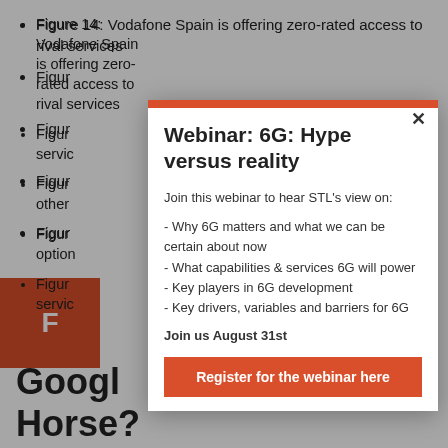Figure 14: Vodafone Spain is offering zero-rated access to rival services
Figure 15: Something interactive or communication services
Figure 16: Something about other
Figure 17: Something about options
Figure 18: Something about services
[Figure (other): Orange box with letter F]
Googl… Horse?
[Figure (infographic): Modal popup overlay: Webinar: 6G: Hype versus reality. Join this webinar to hear STL's view on: - Why 6G matters and what we can be certain about now - What capabilities & services 6G will power - Key players in 6G development - Key drivers, variables and barriers for 6G. Join us August 31st. Register for the webinar here.]